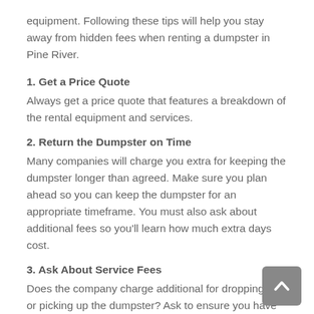equipment. Following these tips will help you stay away from hidden fees when renting a dumpster in Pine River.
1. Get a Price Quote
Always get a price quote that features a breakdown of the rental equipment and services.
2. Return the Dumpster on Time
Many companies will charge you extra for keeping the dumpster longer than agreed. Make sure you plan ahead so you can keep the dumpster for an appropriate timeframe. You must also ask about additional fees so you'll learn how much extra days cost.
3. Ask About Service Fees
Does the company charge additional for dropping off or picking up the dumpster? Ask to ensure you have an exact quote.
4. Avoid Fines
Do not throw banned things into the dumpster. In case you do,